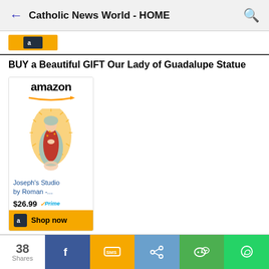Catholic News World - HOME
[Figure (screenshot): Partial Amazon product strip at top]
BUY a Beautiful GIFT Our Lady of Guadalupe Statue
[Figure (screenshot): Amazon product ad showing Our Lady of Guadalupe Statue by Joseph's Studio by Roman, $26.99, Prime, Shop now button]
38 Shares — Facebook, SMS, Share, WeChat, WhatsApp buttons